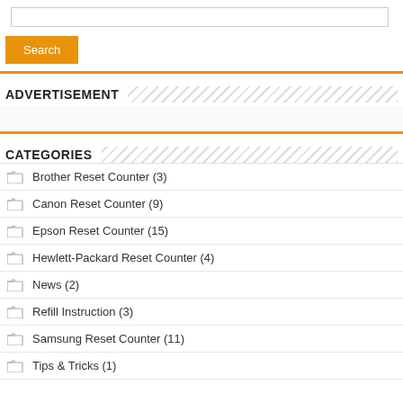[Figure (screenshot): Search input text box at top of page]
Search
ADVERTISEMENT
CATEGORIES
Brother Reset Counter (3)
Canon Reset Counter (9)
Epson Reset Counter (15)
Hewlett-Packard Reset Counter (4)
News (2)
Refill Instruction (3)
Samsung Reset Counter (11)
Tips & Tricks (1)